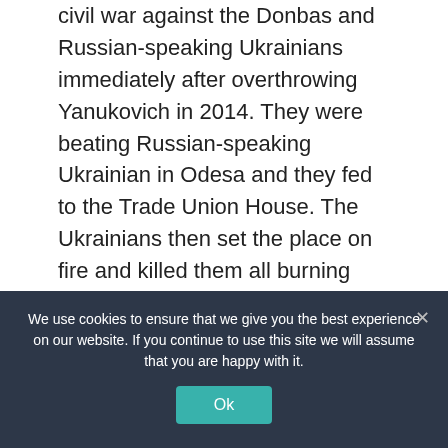civil war against the Donbas and Russian-speaking Ukrainians immediately after overthrowing Yanukovich in 2014. They were beating Russian-speaking Ukrainian in Odesa and they fed to the Trade Union House. The Ukrainians then set the place on fire and killed them all burning them alive which the West turned a blind eye to because after all, they were evil Russians who obviously have no right to live on this earth.
[Figure (screenshot): Screenshot of The Hill website showing navigation bar with blue background, logo 'THE HILL', nav links: News, Policy, Opinion, Events, Jobs, THE HILL TV (red). Below is a headline: 'Zelensky: World War III 'may have already started'' under INTERNATIONAL category tag.]
We use cookies to ensure that we give you the best experience on our website. If you continue to use this site we will assume that you are happy with it.